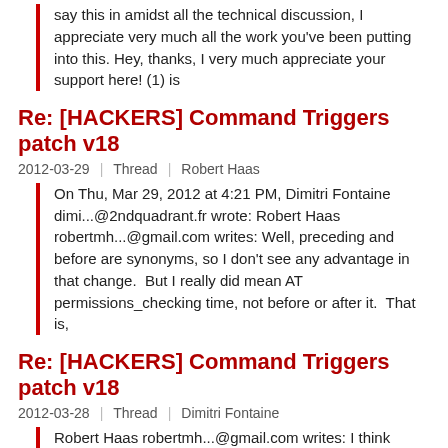say this in amidst all the technical discussion, I appreciate very much all the work you've been putting into this. Hey, thanks, I very much appreciate your support here! (1) is
Re: [HACKERS] Command Triggers patch v18
2012-03-29 | Thread | Robert Haas
On Thu, Mar 29, 2012 at 4:21 PM, Dimitri Fontaine dimi...@2ndquadrant.fr wrote: Robert Haas robertmh...@gmail.com writes: Well, preceding and before are synonyms, so I don't see any advantage in that change. But I really did mean AT permissions_checking time, not before or after it. That is,
Re: [HACKERS] Command Triggers patch v18
2012-03-28 | Thread | Dimitri Fontaine
Robert Haas robertmh...@gmail.com writes: I think BEFORE command triggers ideally should run * before permission checks * before locking * before internal checks are done (nameing conflicts, type checks and such) It is possible to do this, and it would actually be much easier and less
Re: [HACKERS] Command Triggers patch v18